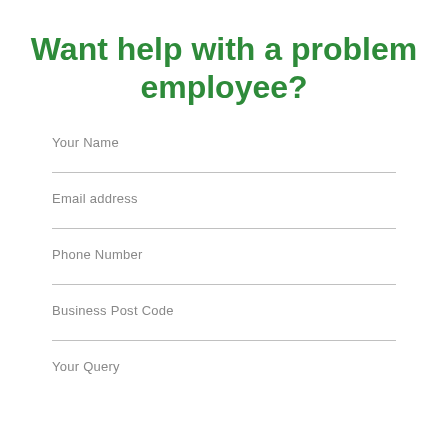Want help with a problem employee?
Your Name
Email address
Phone Number
Business Post Code
Your Query